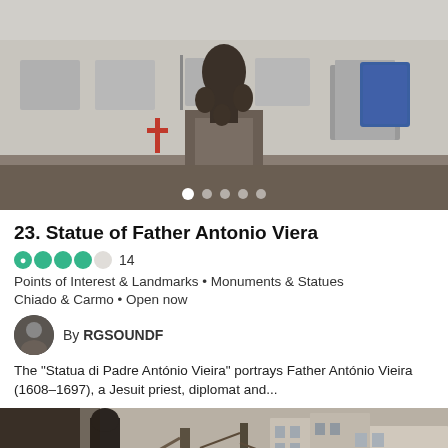[Figure (photo): Photo of the Statue of Father Antonio Viera with bronze figures on a pedestal in front of a white classical building]
23. Statue of Father Antonio Viera
⬤⬤⬤⬤○  14
Points of Interest & Landmarks • Monuments & Statues
Chiado & Carmo • Open now
By RGSOUNDF
The "Statua di Padre António Vieira" portrays Father António Vieira (1608-1697), a Jesuit priest, diplomat and...
[Figure (photo): Photo of another statue in a city square surrounded by bare trees and apartment buildings]